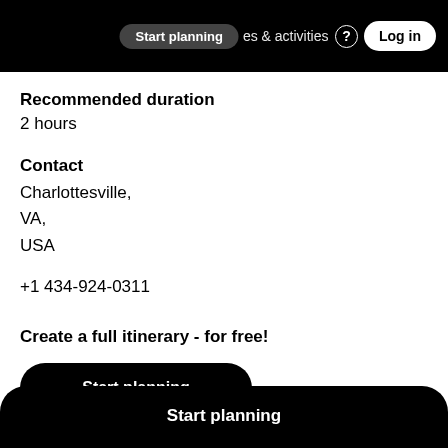Start planning  places & activities  Log in
Recommended duration
2 hours
Contact
Charlottesville,
VA,
USA
+1 434-924-0311
Create a full itinerary - for free!
Start planning
Start planning